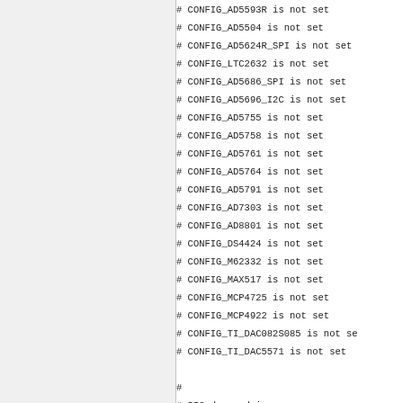# CONFIG_AD5593R is not set
# CONFIG_AD5504 is not set
# CONFIG_AD5624R_SPI is not set
# CONFIG_LTC2632 is not set
# CONFIG_AD5686_SPI is not set
# CONFIG_AD5696_I2C is not set
# CONFIG_AD5755 is not set
# CONFIG_AD5758 is not set
# CONFIG_AD5761 is not set
# CONFIG_AD5764 is not set
# CONFIG_AD5791 is not set
# CONFIG_AD7303 is not set
# CONFIG_AD8801 is not set
# CONFIG_DS4424 is not set
# CONFIG_M62332 is not set
# CONFIG_MAX517 is not set
# CONFIG_MCP4725 is not set
# CONFIG_MCP4922 is not set
# CONFIG_TI_DAC082S085 is not se
# CONFIG_TI_DAC5571 is not set

#
# IIO dummy driver
#

#
# Frequency Synthesizers DDS/PLL
#

#
# Clock Generator/Distribution
#